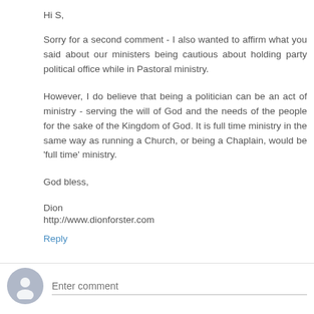Hi S,
Sorry for a second comment - I also wanted to affirm what you said about our ministers being cautious about holding party political office while in Pastoral ministry.
However, I do believe that being a politician can be an act of ministry - serving the will of God and the needs of the people for the sake of the Kingdom of God. It is full time ministry in the same way as running a Church, or being a Chaplain, would be 'full time' ministry.
God bless,
Dion
http://www.dionforster.com
Reply